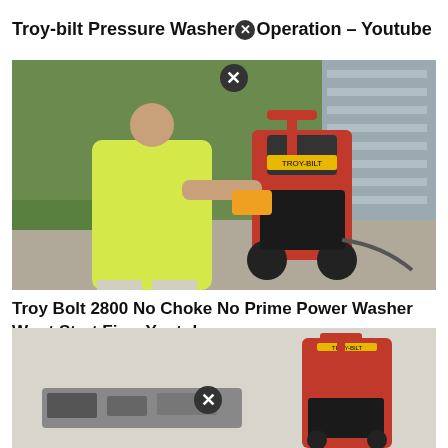Troy-bilt Pressure Washer Operation – Youtube
[Figure (photo): Person in yellow tank top using a drill on a red Troy-Bilt pressure washer on a driveway next to a house with gray siding and green lawn]
Troy Bolt 2800 No Choke No Prime Power Washer Wont Start Fix – Youtube
[Figure (photo): Partial view of a red Troy-Bilt pressure washer with accessories on the ground, against a light background]